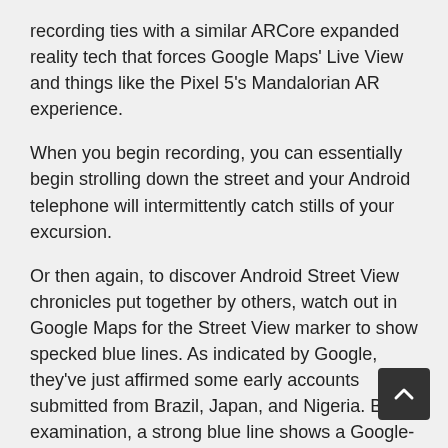recording ties with a similar ARCore expanded reality tech that forces Google Maps' Live View and things like the Pixel 5's Mandalorian AR experience.
When you begin recording, you can essentially begin strolling down the street and your Android telephone will intermittently catch stills of your excursion.
Or then again, to discover Android Street View chronicles put together by others, watch out in Google Maps for the Street View marker to show specked blue lines. As indicated by Google, they've just affirmed some early accounts submitted from Brazil, Japan, and Nigeria. By examination, a strong blue line shows a Google-captured Street View.
Like Google's own Street View footage, all submitted pictures will control recognizable data, for example, obvious faces and tags. In addition to powering Street View, the pictures caught from Android application will likewise be utilized to update other Google Maps information like business hours.